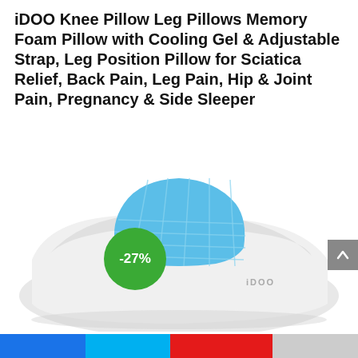iDOO Knee Pillow Leg Pillows Memory Foam Pillow with Cooling Gel & Adjustable Strap, Leg Position Pillow for Sciatica Relief, Back Pain, Leg Pain, Hip & Joint Pain, Pregnancy & Side Sleeper
[Figure (photo): iDOO knee pillow product photo showing white memory foam pillow with blue cooling gel pad on top, shaped with a concave center for leg positioning. A green circular badge showing -27% discount is overlaid on the upper left. A gray scroll-to-top arrow button appears on the right edge.]